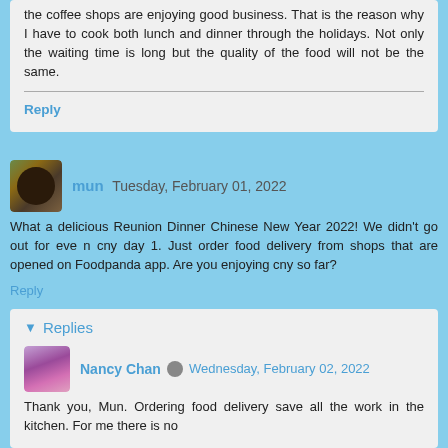the coffee shops are enjoying good business. That is the reason why I have to cook both lunch and dinner through the holidays. Not only the waiting time is long but the quality of the food will not be the same.
Reply
mun  Tuesday, February 01, 2022
What a delicious Reunion Dinner Chinese New Year 2022! We didn't go out for eve n cny day 1. Just order food delivery from shops that are opened on Foodpanda app. Are you enjoying cny so far?
Reply
Replies
Nancy Chan  Wednesday, February 02, 2022
Thank you, Mun. Ordering food delivery save all the work in the kitchen. For me there is no